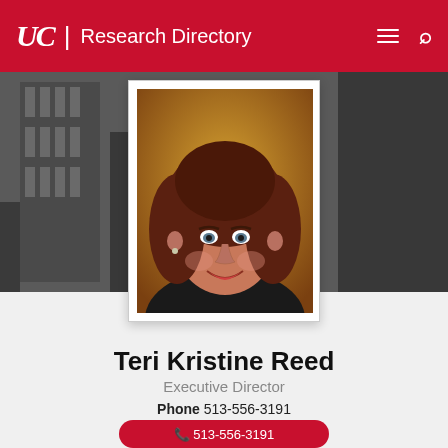UC | Research Directory
[Figure (photo): Portrait photo of Teri Kristine Reed, a woman with curly auburn hair, smiling, wearing a black jacket, displayed in a white-bordered photo frame over a gray background hero image of a building.]
Teri Kristine Reed
Executive Director
Phone 513-556-3191
Email Teri.Reed@uc.edu